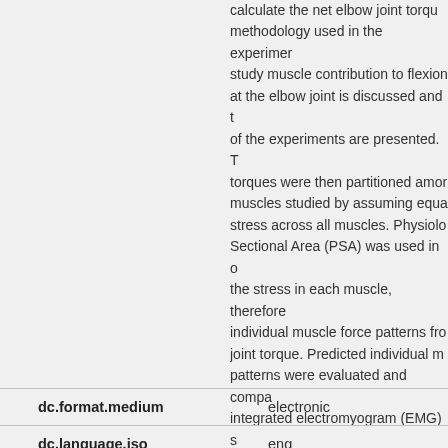calculate the net elbow joint torque. The methodology used in the experiments to study muscle contribution to flexion torques at the elbow joint is discussed and the results of the experiments are presented. The torques were then partitioned among the muscles studied by assuming equal muscle stress across all muscles. Physiological Cross Sectional Area (PSA) was used in calculating the stress in each muscle, therefore predicting individual muscle force patterns from the joint torque. Predicted individual muscle force patterns were evaluated and compared to integrated electromyogram (EMG) signals of each respective muscle by using a profile similarity analysis. In general, the results showed good qualitative profile comparisons between the muscle force patterns predicted and the respective integrated EMG
| Field | Value |
| --- | --- |
| dc.format.medium | electronic |
| dc.language.iso | eng |